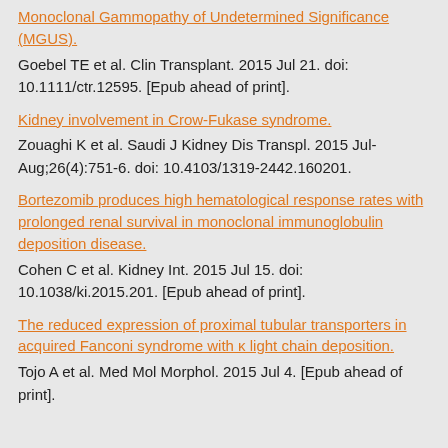Monoclonal Gammopathy of Undetermined Significance (MGUS).
Goebel TE et al. Clin Transplant. 2015 Jul 21. doi: 10.1111/ctr.12595. [Epub ahead of print].
Kidney involvement in Crow-Fukase syndrome.
Zouaghi K et al. Saudi J Kidney Dis Transpl. 2015 Jul-Aug;26(4):751-6. doi: 10.4103/1319-2442.160201.
Bortezomib produces high hematological response rates with prolonged renal survival in monoclonal immunoglobulin deposition disease.
Cohen C et al. Kidney Int. 2015 Jul 15. doi: 10.1038/ki.2015.201. [Epub ahead of print].
The reduced expression of proximal tubular transporters in acquired Fanconi syndrome with κ light chain deposition.
Tojo A et al. Med Mol Morphol. 2015 Jul 4. [Epub ahead of print].